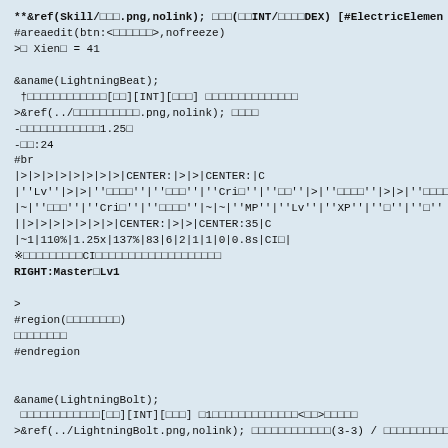**&ref(Skill/□□□.png,nolink); □□□(□□INT/□□□□DEX) [#ElectricElemen
#areaedit(btn:<□□□□□□>,nofreeze)
>□ Xien□ = 41

&aname(LightningBeat);
 †□□□□□□□□□□□□[□□][INT][□□□] □□□□□□□□□□□□□□
>&ref(../□□□□□□□□□□.png,nolink); □□□□
-□□□□□□□□□□□□1.25□
-□□:24
#br
|>|>|>|>|>|>|>|>|CENTER:|>|>|CENTER:|C
|''Lv''|>|>|''□□□□''|''□□□''|''Cri□''|''□□''|>|''□□□□''|>|>|''□□□□
|~|''□□□''|''Cri□''|''□□□□''|~|~|''MP''|''Lv''|''XP''|''□''|''□''
||>|>|>|>|>|>|>|CENTER:|>|>|CENTER:35|C
|~1|110%|1.25x|137%|83|6|2|1|1|0|0.8s|CI□|
※□□□□□□□□□CI□□□□□□□□□□□□□□□□□□□
RIGHT:Master□Lv1

>
#region(□□□□□□□□)
□□□□□□□□
#endregion


&aname(LightningBolt);
 □□□□□□□□□□□□[□□][INT][□□□] □1□□□□□□□□□□□□□<□□>□□□□□
>&ref(../LightningBolt.png,nolink); □□□□□□□□□□□□(3-3) / □□□□□□□□□□
-□□:34□□□□□
-□□□□(30%)□□□□□[□□]&ref(../ElectricShock.png,nolink,80%);□□□□□(-
#br
-Ver7.58□□□□□□□□□□□□□□